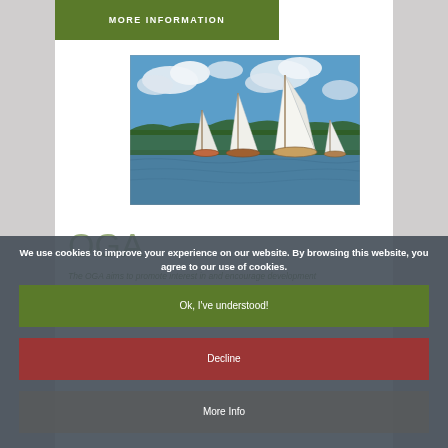[Figure (other): Green 'MORE INFORMATION' button at top of page]
[Figure (photo): Photograph of multiple gaff-rigged sailing boats on water under blue sky with clouds, trees visible in background]
OGA
The OGA aims to promote interest in and encourage development of gaff rig sailing. Join if you are interested in sailing, building, restoring or just admiring gaff rigged and other traditionally rigged craft.
[Figure (other): Green 'MORE INFORMATION' button (partially visible, overlaid)]
We use cookies to improve your experience on our website. By browsing this website, you agree to our use of cookies.
[Figure (other): Cookie consent dialog with three buttons: Ok I've understood!, Decline, More Info]